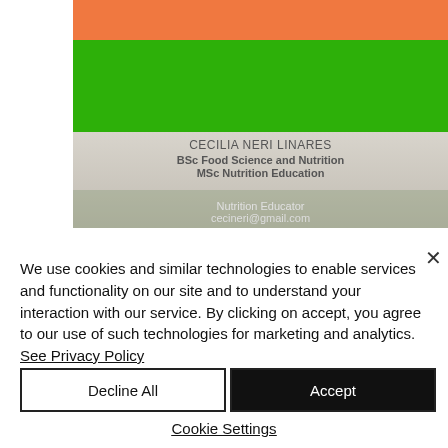[Figure (photo): Profile card for Cecilia Neri Linares showing orange bar on top, green bar below, then a gray/beige section with name and degrees, and a bottom strip with role and email overlaid on vegetables background.]
We use cookies and similar technologies to enable services and functionality on our site and to understand your interaction with our service. By clicking on accept, you agree to our use of such technologies for marketing and analytics. See Privacy Policy
Decline All
Accept
Cookie Settings